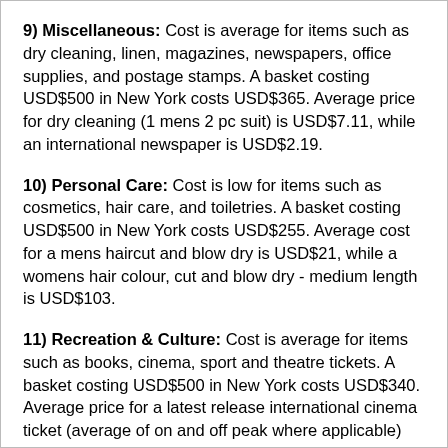9) Miscellaneous: Cost is average for items such as dry cleaning, linen, magazines, newspapers, office supplies, and postage stamps. A basket costing USD$500 in New York costs USD$365. Average price for dry cleaning (1 mens 2 pc suit) is USD$7.11, while an international newspaper is USD$2.19.
10) Personal Care: Cost is low for items such as cosmetics, hair care, and toiletries. A basket costing USD$500 in New York costs USD$255. Average cost for a mens haircut and blow dry is USD$21, while a womens hair colour, cut and blow dry - medium length is USD$103.
11) Recreation & Culture: Cost is average for items such as books, cinema, sport and theatre tickets. A basket costing USD$500 in New York costs USD$340. Average price for a latest release international cinema ticket (average of on and off peak where applicable) for one adult is USD$11.32, and an international fitness, recreation or sports club membership cost for one adult is USD$45 per month.
12) Restaurants Meals Out and Hotels: Cost is average for items such as hotel daily room rates, meals and beverages in a